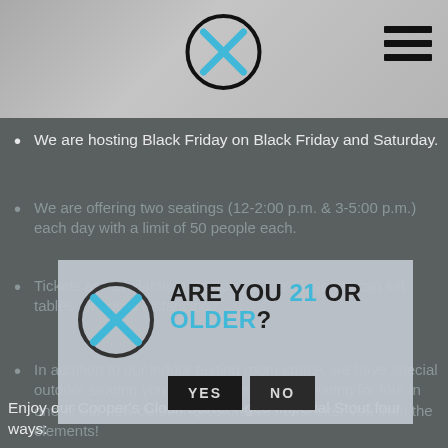[Figure (logo): Circle logo with X mark in cyan/blue color]
We are hosting Black Friday on Black Friday and Saturday.
We are offering two seatings (12-2:00 p.m. & 3-5:00 p.m.) each day with a limit of 50 people each.
[Figure (infographic): Age verification modal overlay with logo, text 'ARE YOU 21 OR OLDER?' and YES/NO buttons]
Tickets are available in groups (2, 4 or 6), so we can set tables for social distancing.
In addition to our indoor tasting room space, we have special outdoor seating you can reserve....enjoy seating for four in one of our new outdoor greenhouses to shelter you from the elements!
Enjoy our Cooper's Cloak Barrel-Aged Imperial Stout four ways: